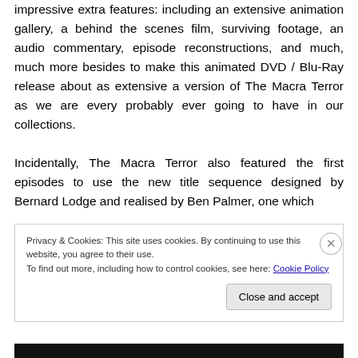impressive extra features: including an extensive animation gallery, a behind the scenes film, surviving footage, an audio commentary, episode reconstructions, and much, much more besides to make this animated DVD / Blu-Ray release about as extensive a version of The Macra Terror as we are every probably ever going to have in our collections.

Incidentally, The Macra Terror also featured the first episodes to use the new title sequence designed by Bernard Lodge and realised by Ben Palmer, one which
Privacy & Cookies: This site uses cookies. By continuing to use this website, you agree to their use.
To find out more, including how to control cookies, see here: Cookie Policy